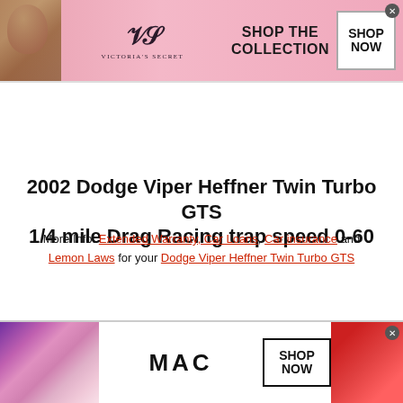[Figure (illustration): Victoria's Secret advertisement banner with model, VS logo, 'SHOP THE COLLECTION' text, and a SHOP NOW button]
2002 Dodge Viper Heffner Twin Turbo GTS 1/4 mile Drag Racing trap speed 0-60
More Info: Extended Warranty, Car Loans, Car insurance and Lemon Laws for your Dodge Viper Heffner Twin Turbo GTS
[Figure (illustration): MAC cosmetics advertisement banner with lipsticks on left and right, MAC logo in center, and SHOP NOW button]